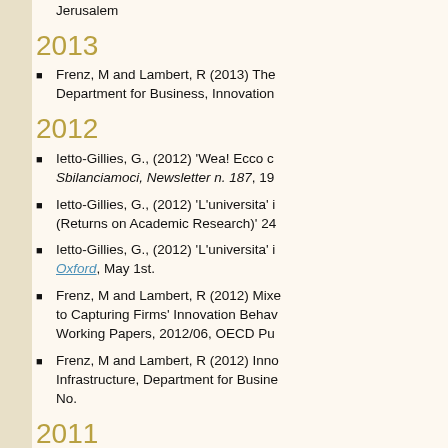Jerusalem
2013
Frenz, M and Lambert, R (2013) The... Department for Business, Innovation...
2012
Ietto-Gillies, G., (2012) 'Weal Ecco c... Sbilanciamoci, Newsletter n. 187, 19...
Ietto-Gillies, G., (2012) 'L'universita' i... (Returns on Academic Research)' 24...
Ietto-Gillies, G., (2012) 'L'universita' i... Oxford, May 1st.
Frenz, M and Lambert, R (2012) Mixe... to Capturing Firms' Innovation Behav... Working Papers, 2012/06, OECD Pu...
Frenz, M and Lambert, R (2012) Inno... Infrastructure, Department for Busine... No.
2011
Ietto-Gillies, G., (2011) Written subm... House of Commons Science and Tec...